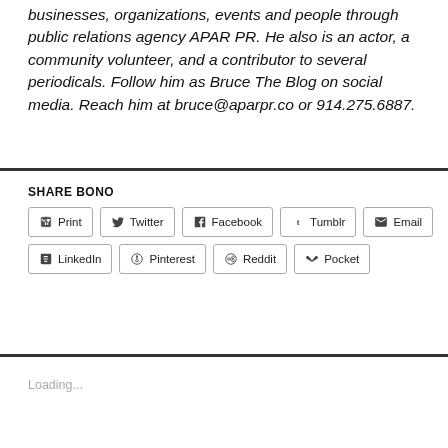businesses, organizations, events and people through public relations agency APAR PR. He also is an actor, a community volunteer, and a contributor to several periodicals. Follow him as Bruce The Blog on social media. Reach him at bruce@aparpr.co or 914.275.6887.
SHARE BONO
Print Twitter Facebook Tumblr Email LinkedIn Pinterest Reddit Pocket
Loading...